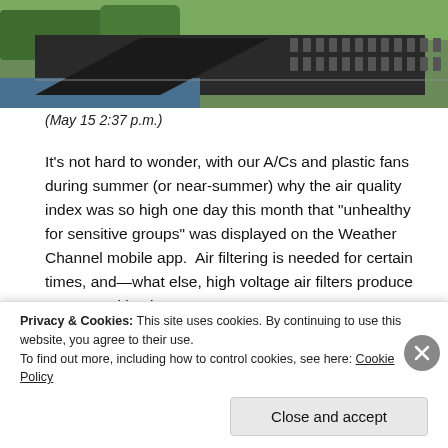[Figure (photo): Outdoor photo showing a bridge or dam structure over water with trees in background]
(May 15 2:37 p.m.)
It’s not hard to wonder, with our A/Cs and plastic fans during summer (or near-summer) why the air quality index was so high one day this month that “unhealthy for sensitive groups” was displayed on the Weather Channel mobile app.  Air filtering is needed for certain times, and—what else, high voltage air filters produce ozone, making it worse?
[Figure (photo): Outdoor photo showing sky with clouds]
Privacy & Cookies: This site uses cookies. By continuing to use this website, you agree to their use.
To find out more, including how to control cookies, see here: Cookie Policy